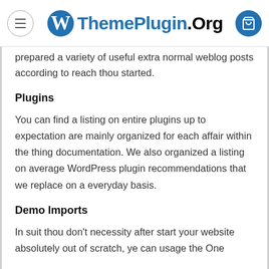ThemePlugin.Org
prepared a variety of useful extra normal weblog posts according to reach thou started.
Plugins
You can find a listing on entire plugins up to expectation are mainly organized for each affair within the thing documentation. We also organized a listing on average WordPress plugin recommendations that we replace on a everyday basis.
Demo Imports
In suit thou don't necessity after start your website absolutely out of scratch, ye can usage the One